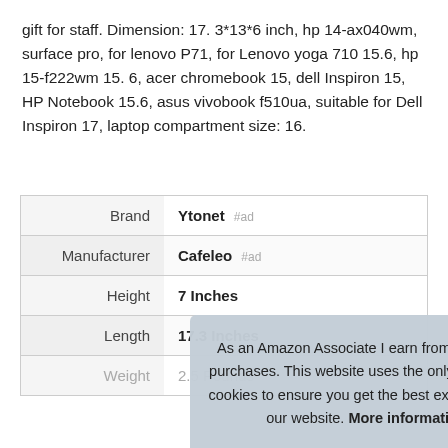gift for staff. Dimension: 17. 3*13*6 inch, hp 14-ax040wm, surface pro, for lenovo P71, for Lenovo yoga 710 15.6, hp 15-f222wm 15. 6, acer chromebook 15, dell Inspiron 15, HP Notebook 15.6, asus vivobook f510ua, suitable for Dell Inspiron 17, laptop compartment size: 16.
|  |  |
| --- | --- |
| Brand | Ytonet #ad |
| Manufacturer | Cafeleo #ad |
| Height | 7 Inches |
| Length | 17.3 Inches |
| Weight | 2.5 Pounds |
As an Amazon Associate I earn from qualifying purchases. This website uses the only necessary cookies to ensure you get the best experience on our website. More information